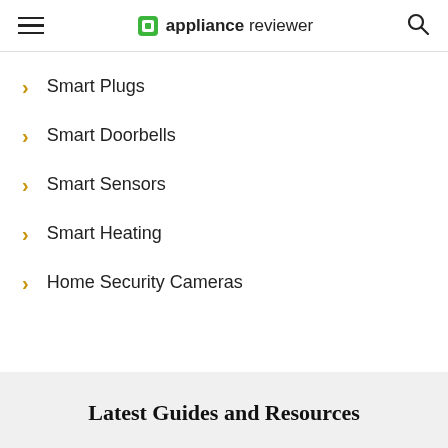appliance reviewer
Smart Plugs
Smart Doorbells
Smart Sensors
Smart Heating
Home Security Cameras
Latest Guides and Resources